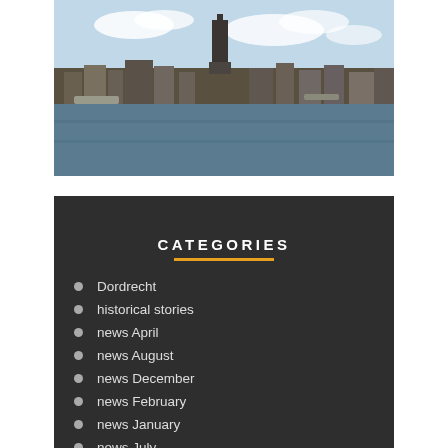[Figure (photo): Panoramic photo of Dordrecht city skyline viewed from across a river, with a prominent church tower in the center, buildings along the waterfront, and a blue sky with clouds above.]
CATEGORIES
Dordrecht
historical stories
news April
news August
news December
news February
news January
news July
news June